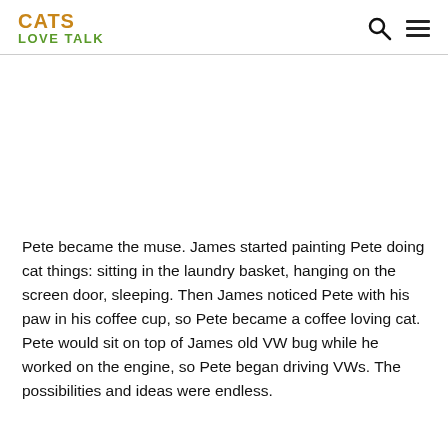CATS LOVE TALK
[Figure (photo): Blank white image area placeholder]
Pete became the muse. James started painting Pete doing cat things: sitting in the laundry basket, hanging on the screen door, sleeping. Then James noticed Pete with his paw in his coffee cup, so Pete became a coffee loving cat. Pete would sit on top of James old VW bug while he worked on the engine, so Pete began driving VWs. The possibilities and ideas were endless.